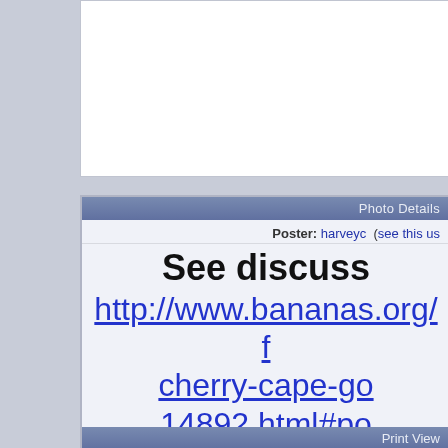[Figure (screenshot): Top white content area / advertisement space]
Photo Details
Poster: harveyc  (see this us
See discuss http://www.bananas.org/f cherry-cape-go 14892.html#po
· Date: Fri February 17, 2012 · Views: 1463 · Filesize
Additional Info
Rating: 👍👍👍👍👍👍👍
Keywords: Physalis peruviana
Print View